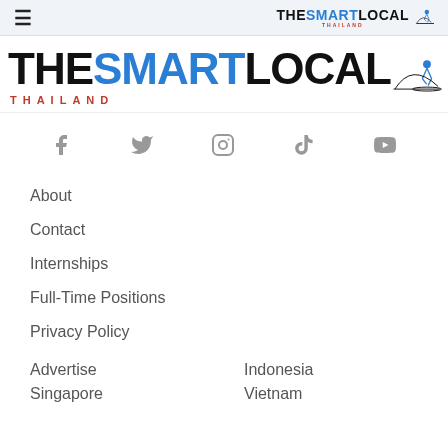THE SMART LOCAL THAILAND (navigation header with hamburger and logo)
[Figure (logo): TheSmartLocal Thailand large banner logo with walking figure icon]
[Figure (infographic): Social media icons: Facebook, Twitter, Instagram, TikTok, YouTube]
About
Contact
Internships
Full-Time Positions
Privacy Policy
Advertise
Indonesia
Singapore
Vietnam